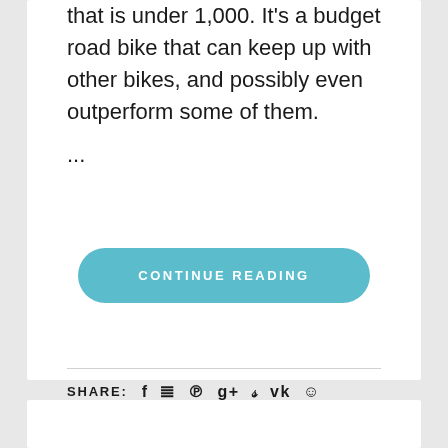that is under 1,000. It's a budget road bike that can keep up with other bikes, and possibly even outperform some of them.
...
CONTINUE READING
SHARE:
READING TIME: 25 MIN